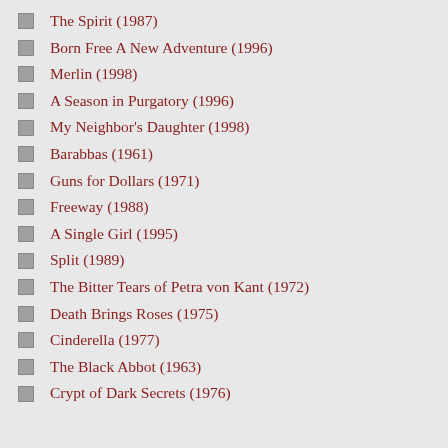The Spirit (1987)
Born Free A New Adventure (1996)
Merlin (1998)
A Season in Purgatory (1996)
My Neighbor's Daughter (1998)
Barabbas (1961)
Guns for Dollars (1971)
Freeway (1988)
A Single Girl (1995)
Split (1989)
The Bitter Tears of Petra von Kant (1972)
Death Brings Roses (1975)
Cinderella (1977)
The Black Abbot (1963)
Crypt of Dark Secrets (1976)